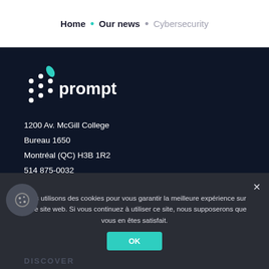Home • Our news • Cybersecurity
[Figure (logo): Prompt company logo with teal dots pattern and text 'prompt' in white on dark navy background]
1200 Av. McGill College
Bureau 1650
Montréal (QC) H3B 1R2
514 875-0032
Nous utilisons des cookies pour vous garantir la meilleure expérience sur notre site web. Si vous continuez à utiliser ce site, nous supposerons que vous en êtes satisfait.
OK
DISCOVER